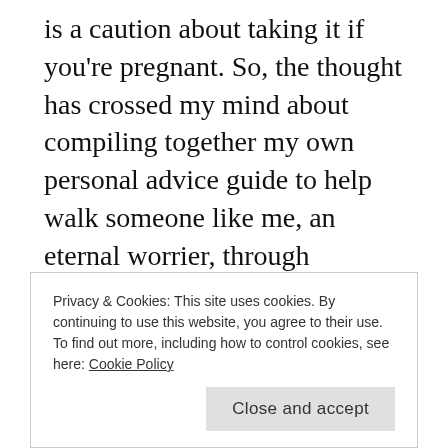is a caution about taking it if you're pregnant. So, the thought has crossed my mind about compiling together my own personal advice guide to help walk someone like me, an eternal worrier, through pregnancy.    It's just an idea, but I would love to hear about some of the questions you mommies out there had during pregnancy and what answers you received.   I'm considering posting a new page with a question a week and providing
Privacy & Cookies: This site uses cookies. By continuing to use this website, you agree to their use.
To find out more, including how to control cookies, see here: Cookie Policy
Close and accept